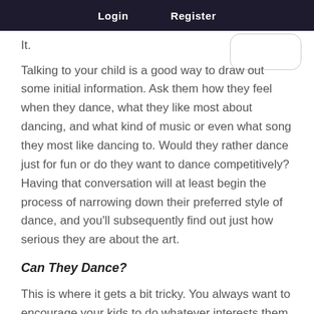Login   Register
It.
Talking to your child is a good way to draw out some initial information. Ask them how they feel when they dance, what they like most about dancing, and what kind of music or even what song they most like dancing to. Would they rather dance just for fun or do they want to dance competitively? Having that conversation will at least begin the process of narrowing down their preferred style of dance, and you'll subsequently find out just how serious they are about the art.
Can They Dance?
This is where it gets a bit tricky. You always want to encourage your kids to do whatever interests them,